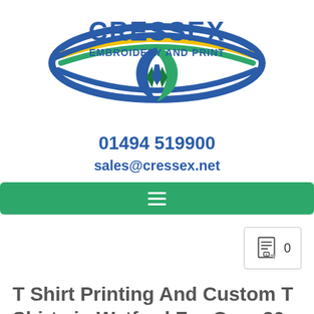[Figure (logo): Cressex Embroidery and Print logo with blue text, green and yellow oval swoosh, and blue/green leaf emblem]
01494 519900
sales@cressex.net
[Figure (other): Green navigation bar with hamburger menu icon (three horizontal white lines)]
[Figure (other): Cart icon with count 0]
T Shirt Printing And Custom T Shirts in Watford For Over 20 Years